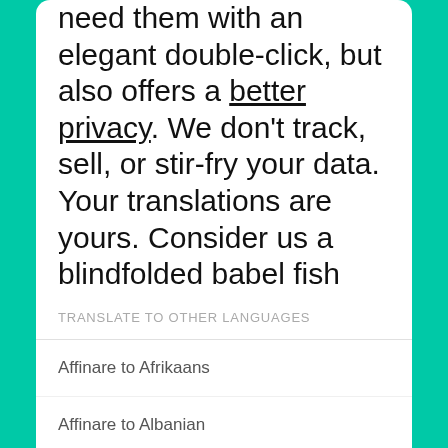need them with an elegant double-click, but also offers a better privacy. We don't track, sell, or stir-fry your data. Your translations are yours. Consider us a blindfolded babel fish that was turned into a bunch of beautiful apps to have your back with translations.
TRANSLATE TO OTHER LANGUAGES
Affinare to Afrikaans
Affinare to Albanian
Affinare to Amharic